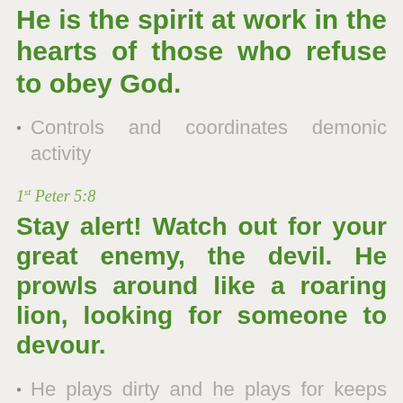He is the spirit at work in the hearts of those who refuse to obey God.
Controls and coordinates demonic activity
1st Peter 5:8
Stay alert! Watch out for your great enemy, the devil. He prowls around like a roaring lion, looking for someone to devour.
He plays dirty and he plays for keeps (always active)